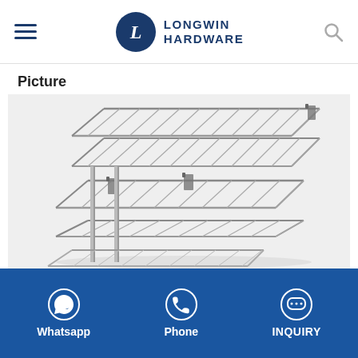Longwin Hardware
Picture
[Figure (photo): Chrome wire basket shelf organizer with two tiers, showing the metal wire rack structure in a product photo against a light grey background.]
Whatsapp   Phone   INQUIRY